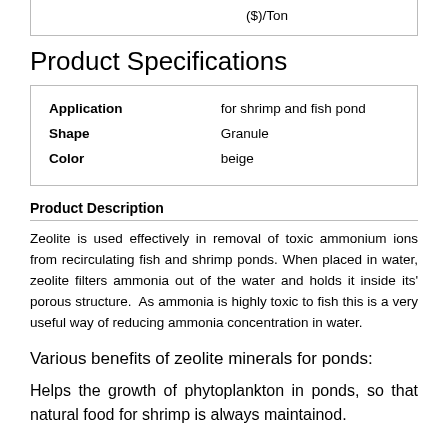|  | ($)/Ton |
| --- | --- |
Product Specifications
| Application | for shrimp and fish pond |
| --- | --- |
| Shape | Granule |
| Color | beige |
Product Description
Zeolite is used effectively in removal of toxic ammonium ions from recirculating fish and shrimp ponds. When placed in water, zeolite filters ammonia out of the water and holds it inside its' porous structure.  As ammonia is highly toxic to fish this is a very useful way of reducing ammonia concentration in water.
Various benefits of zeolite minerals for ponds:
Helps the growth of phytoplankton in ponds, so that natural food for shrimp is always maintained.